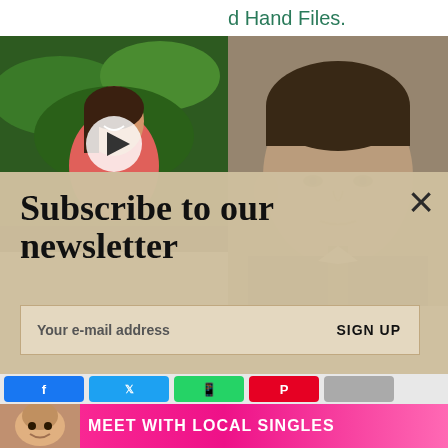d Hand Files.
[Figure (photo): Video thumbnail of a woman in a pink top outdoors near pond with plants, with a play button overlay]
[Figure (photo): Black and white photo of JFK (John F. Kennedy) face, partial view]
[Figure (infographic): Newsletter subscription overlay with title 'Subscribe to our newsletter', email input field, and SIGN UP button, with an X close button]
Subscribe to our newsletter
Your e-mail address
SIGN UP
[Figure (infographic): Social sharing buttons row: Facebook, Twitter, WhatsApp, Pinterest, and another button partially visible]
MOST POPULAR
[Figure (infographic): Advertisement banner: Meet with Local Singles, Clover app, pink background with photo of smiling woman]